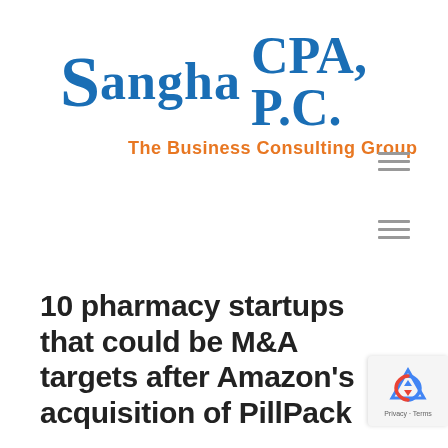[Figure (logo): Sangha CPA, P.C. The Business Consulting Group logo with blue serif text and orange subtitle]
[Figure (other): Hamburger menu icon (three horizontal lines) appearing twice on right side]
10 pharmacy startups that could be M&A targets after Amazon's acquisition of PillPack